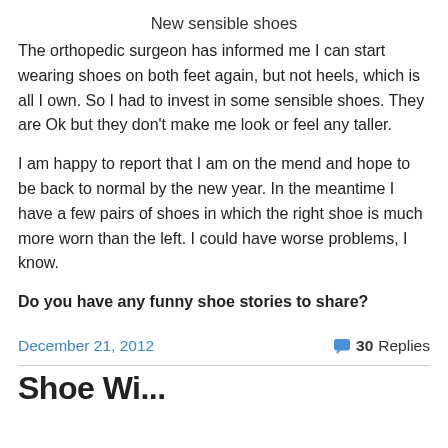New sensible shoes
The orthopedic surgeon has informed me I can start wearing shoes on both feet again, but not heels, which is all I own.  So I had to invest in some sensible shoes. They are Ok but they don't make me look or feel any taller.
I am happy to report that I am on the mend and hope to be back to normal by the new year.  In the meantime I have a few pairs of shoes  in which the right shoe is much more worn than the left. I could have worse problems, I know.
Do you have any funny shoe stories to share?
December 21, 2012   30 Replies
Shoe Wi...